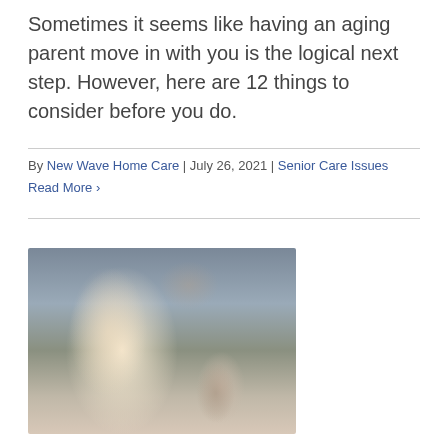Sometimes it seems like having an aging parent move in with you is the logical next step. However, here are 12 things to consider before you do.
By New Wave Home Care | July 26, 2021 | Senior Care Issues
Read More ›
[Figure (photo): A young woman with long dark hair smiling down at an elderly person; home care / caregiving scene]